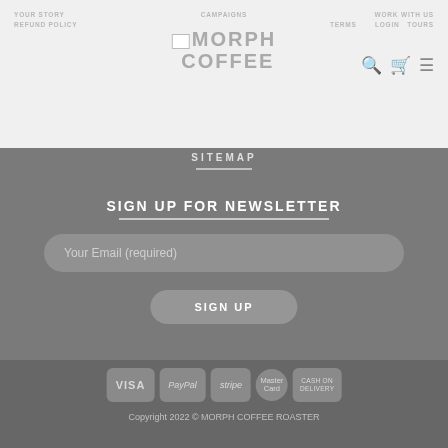[Figure (screenshot): Website header with MORPH COFFEE logo, navigation links (YOUR STORY, CAMPAIGNS, WORK WITH US, REFUND POLICY, TERMS, LOGIN, TOURS), search icon, cart icon, and hamburger menu icon on light grey background]
SITEMAP
SIGN UP FOR NEWSLETTER
Your Email (required)
SIGN UP
[Figure (infographic): Payment method badges: VISA, PayPal, stripe, MasterCard, CASH ON DELIVERY]
Copyright 2022 © MORPH COFFEE ROASTER